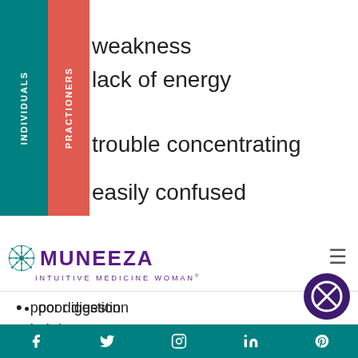[Figure (other): Teal vertical navigation bar labeled INDIVIDUALS and pink/red vertical navigation bar labeled PRACTIONERS]
weakness
lack of energy
trouble concentrating
easily confused
[Figure (logo): Muneeza Intuitive Medicine Woman logo with snowflake icon]
poor digestion
hair loss
constipation
depression
insomnia
waking up tired
desiring a nap in the day
no dreaming
lack of libido
blurry vision
Social media icons: Facebook, Twitter, Instagram, LinkedIn, Pinterest